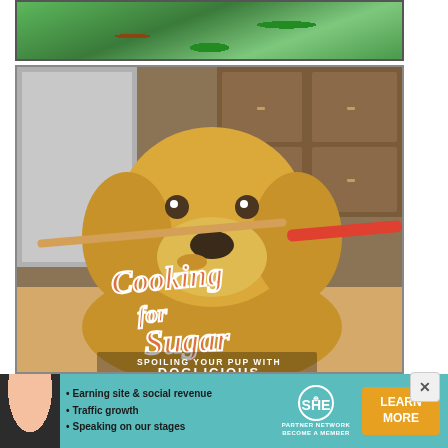[Figure (illustration): Top partial image showing green foliage and tree illustration, partially cropped at top]
[Figure (photo): Book cover image: A golden retriever dog holding a wooden spoon in its mouth in a kitchen. Text overlay reads 'Cooking for Sugar' in orange script lettering, and 'SPOILING YOUR PUP WITH DOGLICIOUS' in white/orange text at bottom]
[Figure (infographic): Advertisement banner for SHE Partner Network. Shows a woman on left side. Bullet points: Earning site & social revenue, Traffic growth, Speaking on our stages. SHE logo with globe icon. BECOME A MEMBER tagline. Orange LEARN MORE button on right.]